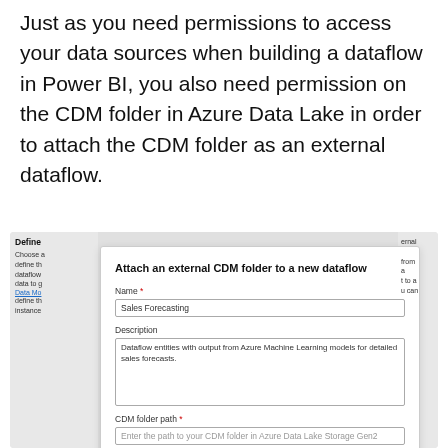Just as you need permissions to access your data sources when building a dataflow in Power BI, you also need permission on the CDM folder in Azure Data Lake in order to attach the CDM folder as an external dataflow.
[Figure (screenshot): Screenshot of a Power BI dialog titled 'Attach an external CDM folder to a new dataflow' with fields for Name (filled with 'Sales Forecasting'), Description (filled with 'Dataflow entities with output from Azure Machine Learning models for detailed sales forecasts.'), and CDM folder path (placeholder: 'Enter the path to your CDM folder in Azure Data Lake Storage Gen2'). Behind the dialog is a partially visible panel with 'Define...' and some cut-off text about dataflows and Data Model.]